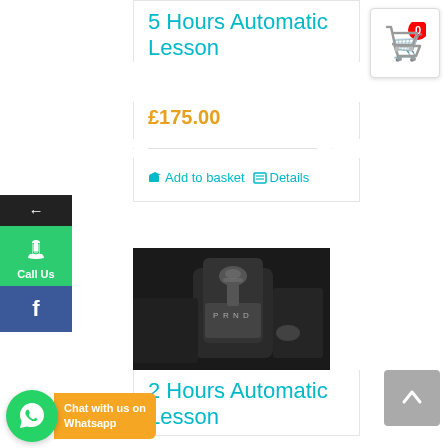5 Hours Automatic Lesson
£175.00
Add to basket   Details
[Figure (photo): Automatic gear shift lever/selector in a car, black and white photo]
2 Hours Automatic Lesson
[Figure (screenshot): Shopping cart icon with red badge showing 0]
[Figure (illustration): WhatsApp Chat with us on Whatsapp button with green phone icon]
[Figure (other): Left sidebar with back arrow, green Call Us button, and Facebook button]